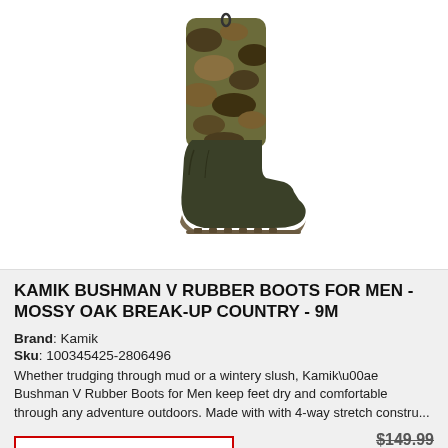[Figure (photo): Kamik Bushman V Rubber Boot for Men in Mossy Oak Break-Up Country camo pattern. Tall rubber boot with camouflage upper shaft and dark olive/black lower foot section, shown as a single right boot standing upright.]
KAMIK BUSHMAN V RUBBER BOOTS FOR MEN - MOSSY OAK BREAK-UP COUNTRY - 9M
Brand: Kamik
Sku: 100345425-2806496
Whether trudging through mud or a wintery slush, Kamik\u00ae Bushman V Rubber Boots for Men keep feet dry and comfortable through any adventure outdoors. Made with with 4-way stretch constru...
PRICING & INFO
$149.99